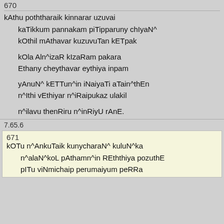670
kAthu poththaraik kinnarar uzuvai
kaTikkum pannakam piTipparuny chIyaN^
kOthil mAthavar kuzuvuTan kETpak
kOla Aln^izaR kIzaRam pakara
Ethany cheythavar eythiya inpam
yAnuN^ kETTun^in iNaiyaTi aTain^thEn
n^Ithi vEthiyar n^iRaipukaz ulakil
n^ilavu thenRiru n^inRiyU rAnE.
7.65.6
671
kOTu n^AnkuTaik kunycharaN^ kuluN^ka
n^alaN^koL pAthamn^in REththiya pozuthE
pITu viNmichaip perumaiyum peRRa